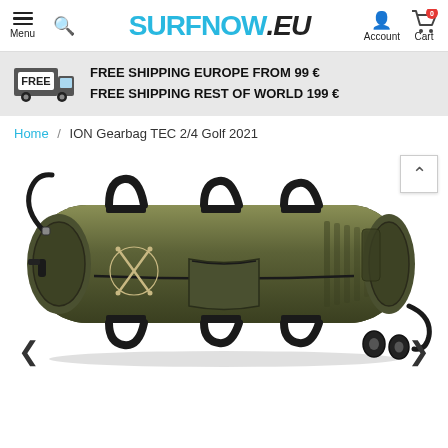SURFNOW.EU — Menu, Search, Account, Cart (0)
FREE SHIPPING EUROPE FROM 99 €
FREE SHIPPING REST OF WORLD 199 €
Home / ION Gearbag TEC 2/4 Golf 2021
[Figure (photo): ION Gearbag TEC 2/4 Golf 2021 — an olive/khaki green large gear bag with black straps, zippers, wheels at bottom right, side handles and shoulder strap, with crossed kite/surf pole logo on side. Navigation arrows left and right below image.]